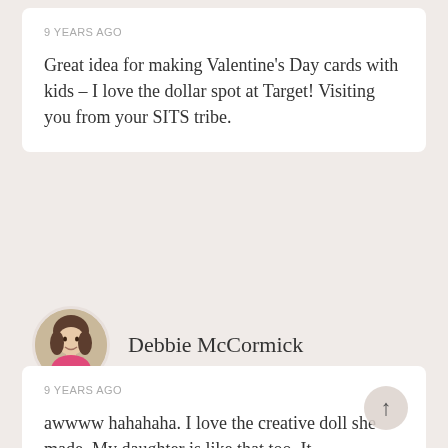9 YEARS AGO
Great idea for making Valentine’s Day cards with kids – I love the dollar spot at Target! Visiting you from your SITS tribe.
[Figure (photo): Circular avatar photo of Debbie McCormick, a woman with dark hair wearing a pink top]
Debbie McCormick
9 YEARS AGO
awwww hahahaha. I love the creative doll she made. My daughter is like that too. It